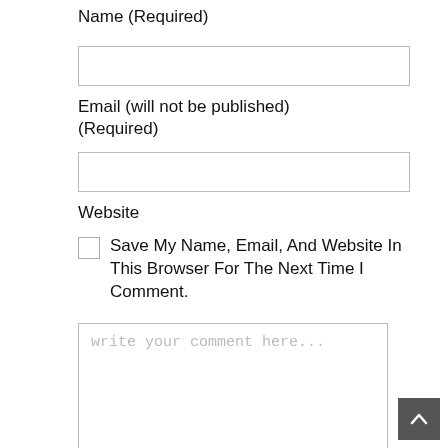Name (Required)
[Figure (other): Text input field for Name]
Email (will not be published) (Required)
[Figure (other): Text input field for Email]
Website
Save My Name, Email, And Website In This Browser For The Next Time I Comment.
[Figure (other): Comment textarea with placeholder text 'write your comment here...']
[Figure (other): Back to top button with upward arrow]